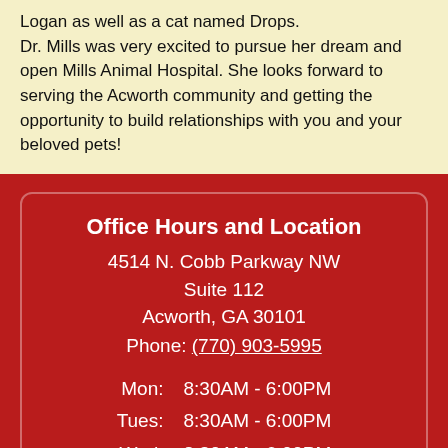Logan as well as a cat named Drops.

Dr. Mills was very excited to pursue her dream and open Mills Animal Hospital. She looks forward to serving the Acworth community and getting the opportunity to build relationships with you and your beloved pets!
Office Hours and Location
4514 N. Cobb Parkway NW
Suite 112
Acworth, GA 30101
Phone: (770) 903-5995
| Day | Hours |
| --- | --- |
| Mon: | 8:30AM - 6:00PM |
| Tues: | 8:30AM - 6:00PM |
| Wed: | 8:30AM - 6:00PM |
| Thur: | 8:30AM - 6:00PM |
| Fri: | 8:30A[...]PM |